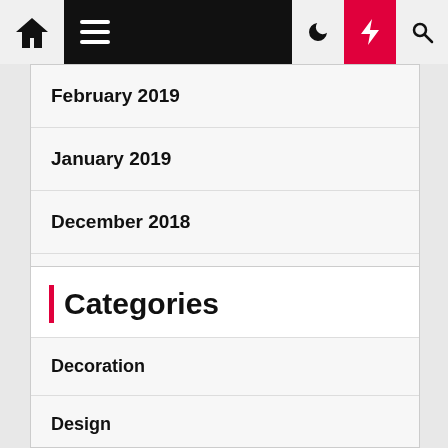Navigation bar with home icon, hamburger menu, moon icon, lightning bolt icon, search icon
February 2019
January 2019
December 2018
November 2018
Categories
Decoration
Design
Exterior
Family Room